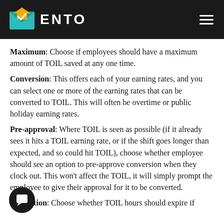ENTO
Maximum: Choose if employees should have a maximum amount of TOIL saved at any one time.
Conversion: This offers each of your earning rates, and you can select one or more of the earning rates that can be converted to TOIL. This will often be overtime or public holiday earning rates.
Pre-approval: Where TOIL is seen as possible (if it already sees it hits a TOIL earning rate, or if the shift goes longer than expected, and so could hit TOIL), choose whether employee should see an option to pre-approve conversion when they clock out. This won't affect the TOIL, it will simply prompt the employee to give their approval for it to be converted.
Expiration: Choose whether TOIL hours should expire if